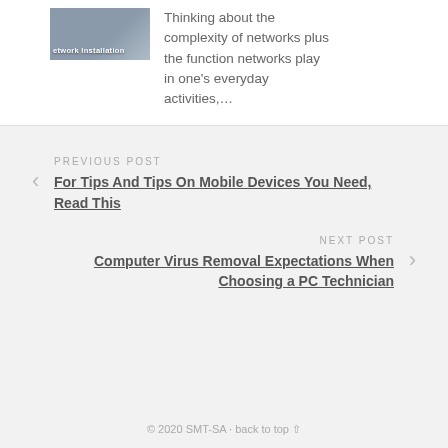[Figure (photo): Network Installation image with text overlay]
Thinking about the complexity of networks plus the function networks play in one’s everyday activities,…
PREVIOUS POST
For Tips And Tips On Mobile Devices You Need, Read This
NEXT POST
Computer Virus Removal Expectations When Choosing a PC Technician
© 2020 SMT-SA · back to top ∧